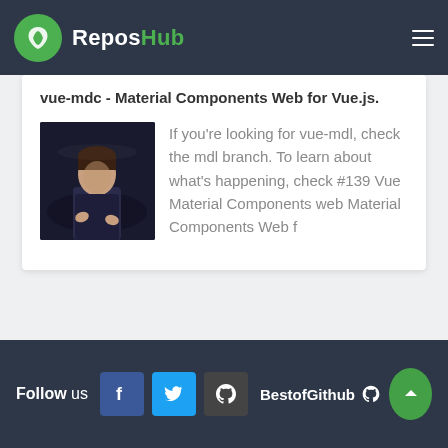ReposHub
vue-mdc - Material Components Web for Vue.js.
[Figure (photo): A man speaking at an event, photographed against a dark background, wearing a dark shirt.]
If you're looking for vue-mdl, check the mdl branch. To learn about what's happening, check #139 Vue Material Components web Material Components Web f
Follow us | BestofGithub